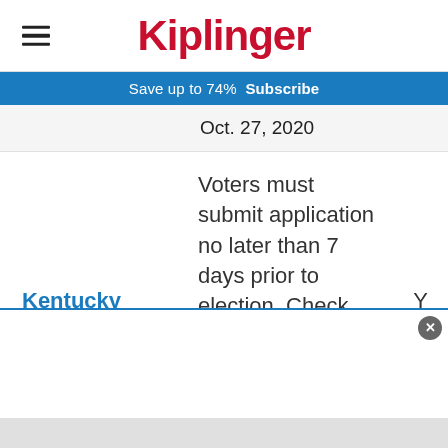Kiplinger
Save up to 74%  Subscribe
Oct. 27, 2020
| State | Description | Y/N |
| --- | --- | --- |
| Kentucky | Voters must submit application no later than 7 days prior to election. Check your state's board of... | Y |